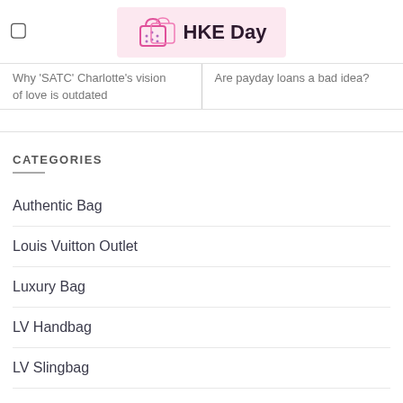HKE Day
Why 'SATC' Charlotte's vision of love is outdated
Are payday loans a bad idea?
CATEGORIES
Authentic Bag
Louis Vuitton Outlet
Luxury Bag
LV Handbag
LV Slingbag